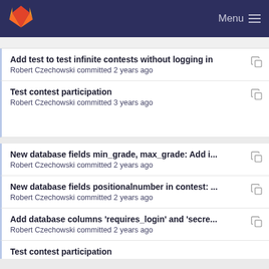GitLab Menu
Add test to test infinite contests without logging in
Robert Czechowski committed 2 years ago
Test contest participation
Robert Czechowski committed 3 years ago
New database fields min_grade, max_grade: Add i...
Robert Czechowski committed 2 years ago
New database fields positionalnumber in contest: ...
Robert Czechowski committed 2 years ago
Add database columns 'requires_login' and 'secre...
Robert Czechowski committed 2 years ago
Test contest participation (partial)